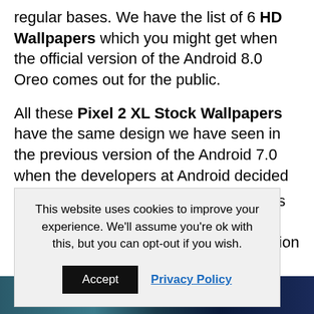regular bases. We have the list of 6 HD Wallpapers which you might get when the official version of the Android 8.0 Oreo comes out for the public.
All these Pixel 2 XL Stock Wallpapers have the same design we have seen in the previous version of the Android 7.0 when the developers at Android decided to introduce the same flat [icons and version of smartphones]
This website uses cookies to improve your experience. We'll assume you're ok with this, but you can opt-out if you wish.
[Figure (photo): Dark blue/teal image strip at the bottom of the page]